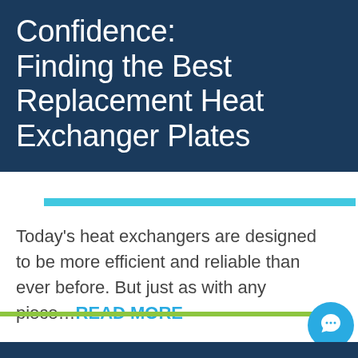Confidence: Finding the Best Replacement Heat Exchanger Plates
Today's heat exchangers are designed to be more efficient and reliable than ever before. But just as with any piece…READ MORE